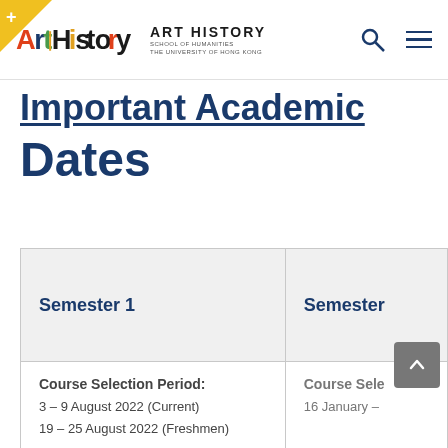Art History — School of Humanities, The University of Hong Kong
Important Academic Dates
| Semester 1 | Semester 2 |
| --- | --- |
| Course Selection Period:
3 – 9 August 2022 (Current)
19 – 25 August 2022 (Freshmen) | Course Selection Period:
16 January – |
| First Day of Teaching:
1 September 2022 | First Day of:
16 January 2 |